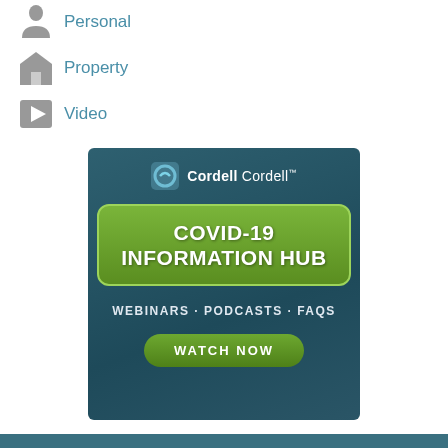Personal
Property
Video
[Figure (infographic): Cordell Cordell COVID-19 Information Hub advertisement with green button, subtext 'WEBINARS · PODCASTS · FAQs' and a 'WATCH NOW' button on a dark teal background]